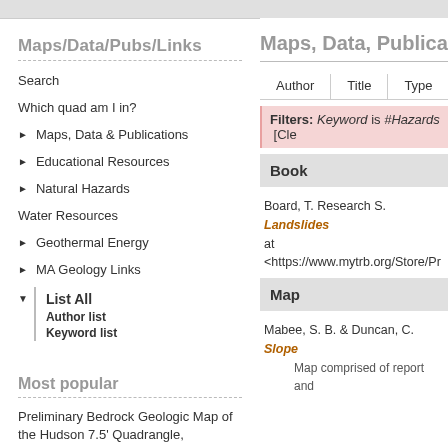Maps/Data/Pubs/Links
Search
Which quad am I in?
Maps, Data & Publications
Educational Resources
Natural Hazards
Water Resources
Geothermal Energy
MA Geology Links
List All
Author list
Keyword list
Most popular
Preliminary Bedrock Geologic Map of the Hudson 7.5' Quadrangle,
Maps, Data, Publication
Author | Title | Type
Filters: Keyword is #Hazards [Cle
Book
Board, T. Research S. Landslides at <https://www.mytrb.org/Store/Pr
Map
Mabee, S. B. & Duncan, C. Slope
Map comprised of report and